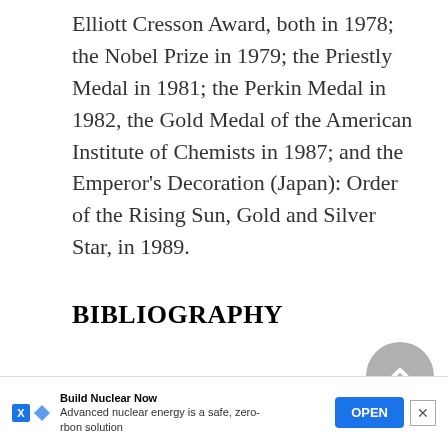Elliott Cresson Award, both in 1978; the Nobel Prize in 1979; the Priestly Medal in 1981; the Perkin Medal in 1982, the Gold Medal of the American Institute of Chemists in 1987; and the Emperor's Decoration (Japan): Order of the Rising Sun, Gold and Silver Star, in 1989.
BIBLIOGRAPHY
The Chemistry Department at Purdue Un[iversity…]a,